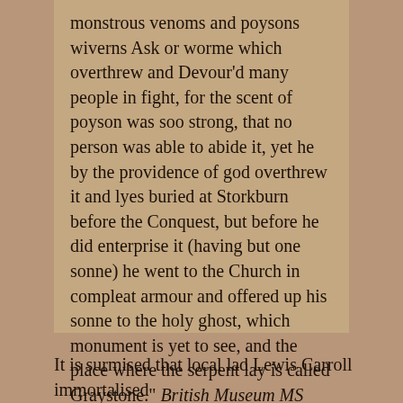monstrous venoms and poysons wiverns Ask or worme which overthrew and Devour'd many people in fight, for the scent of poyson was soo strong, that no person was able to abide it, yet he by the providence of god overthrew it and lyes buried at Storkburn before the Conquest, but before he did enterprise it (having but one sonne) he went to the Church in compleat armour and offered up his sonne to the holy ghost, which monument is yet to see, and the place where the serpent lay is called Graystone." British Museum MS Harleian No. 2118, folio 39. Early 17thC
It is surmised that local lad Lewis Carroll immortalised